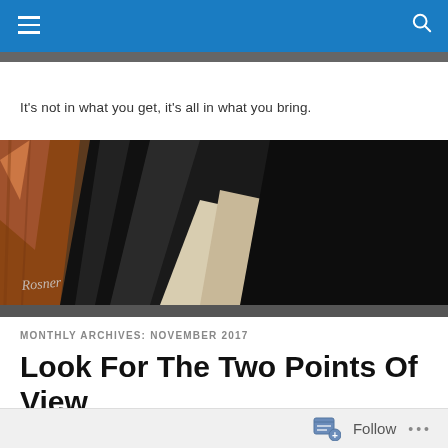Navigation bar with hamburger menu and search icon
It’s not in what you get, it’s all in what you bring.
[Figure (photo): Close-up painting/artwork showing abstract shapes in dark tones with an artist signature reading 'Rosner' at the lower left]
MONTHLY ARCHIVES: NOVEMBER 2017
Look For The Two Points Of View
Follow ...